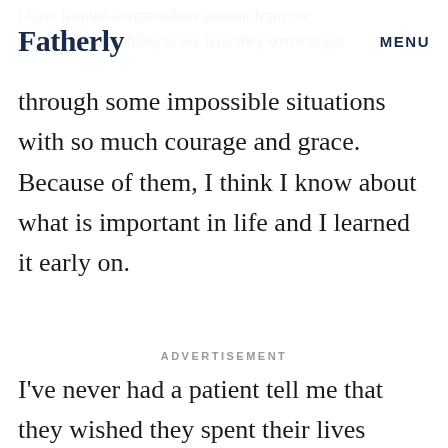Fatherly   MENU
I have learned a tremendous amount from my patients. It's humbling to see how they strive to get through some impossible situations with so much courage and grace. Because of them, I think I know about what is important in life and I learned it early on.
ADVERTISEMENT
I've never had a patient tell me that they wished they spent their lives working harder, but I've had countless patients remark that they wished they had